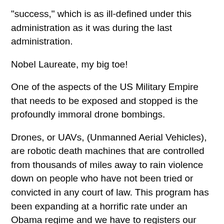“success,” which is as ill-defined under this administration as it was during the last administration.
Nobel Laureate, my big toe!
One of the aspects of the US Military Empire that needs to be exposed and stopped is the profoundly immoral drone bombings.
Drones, or UAVs, (Unmanned Aerial Vehicles), are robotic death machines that are controlled from thousands of miles away to rain violence down on people who have not been tried or convicted in any court of law. This program has been expanding at a horrific rate under an Obama regime and we have to registers our disgust as loudly as possible!
I was watching a propaganda piece on CNN about the